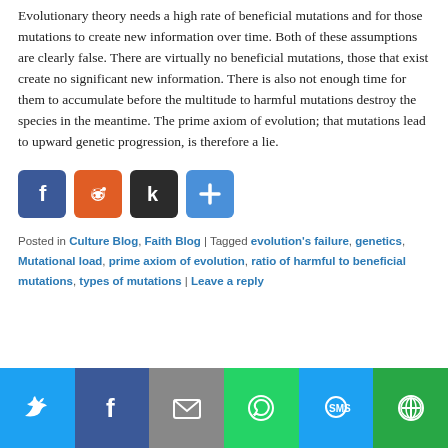Evolutionary theory needs a high rate of beneficial mutations and for those mutations to create new information over time. Both of these assumptions are clearly false. There are virtually no beneficial mutations, those that exist create no significant new information. There is also not enough time for them to accumulate before the multitude to harmful mutations destroy the species in the meantime. The prime axiom of evolution; that mutations lead to upward genetic progression, is therefore a lie.
[Figure (other): Social share buttons: Facebook (blue), Reddit (orange), Klout (dark), Add/Share (blue)]
Posted in Culture Blog, Faith Blog | Tagged evolution's failure, genetics, Mutational load, prime axiom of evolution, ratio of harmful to beneficial mutations, types of mutations | Leave a reply
[Figure (other): Bottom social sharing bar with Twitter, Facebook, Email, WhatsApp, SMS, and More buttons]